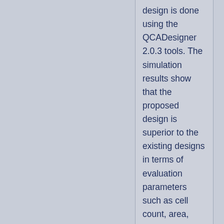design is done using the QCADesigner 2.0.3 tools. The simulation results show that the proposed design is superior to the existing designs in terms of evaluation parameters such as cell count, area, latency, and quantum cost.